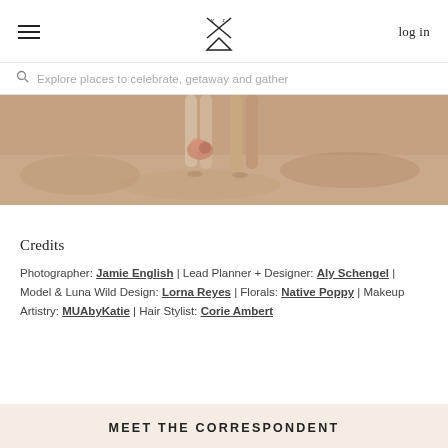log in
Explore places to celebrate, getaway and gather
[Figure (photo): Cropped photo of a couple standing on sandy beach; legs and feet visible, person holding a bouquet of flowers; warm sandy tones.]
Credits
Photographer: Jamie English | Lead Planner + Designer: Aly Schengel | Model & Luna Wild Design: Lorna Reyes | Florals: Native Poppy | Makeup Artistry: MUAbyKatie | Hair Stylist: Corie Ambert
MEET THE CORRESPONDENT